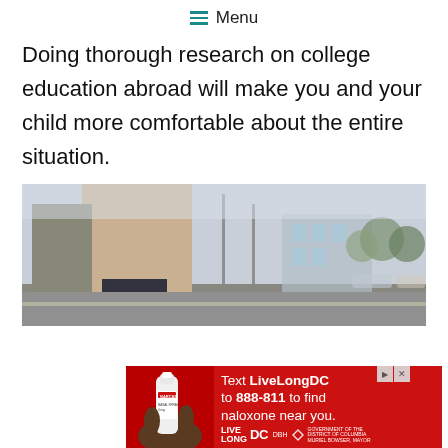≡ Menu
Doing thorough research on college education abroad will make you and your child more comfortable about the entire situation.
[Figure (photo): A person in a long coat walking outdoors, pulling a travel suitcase, with blurred urban buildings and trees in the background.]
[Figure (infographic): Advertisement: Red background ad reading 'Text LiveLongDC to 888-811 to find naloxone near you.' with LiveLong DC, DBH, and DC Government logos. Shows a hand holding a Narcan nasal spray device.]